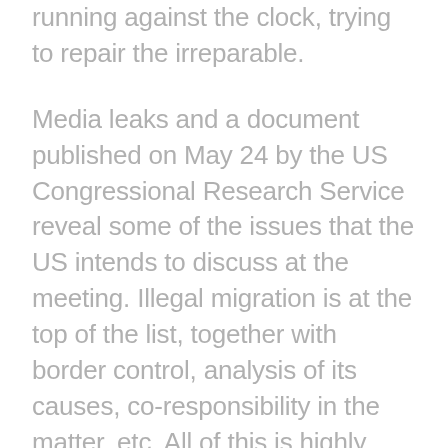running against the clock, trying to repair the irreparable.
Media leaks and a document published on May 24 by the US Congressional Research Service reveal some of the issues that the US intends to discuss at the meeting. Illegal migration is at the top of the list, together with border control, analysis of its causes, co-responsibility in the matter, etc. All of this is highly debatable since it is the policies of the United States and the submissive local oligarchies that are the major causes of migration in the region, starting with their dozens of military interventions since the 19th century, which added to the imposition -sometimes invasion by the Marines- of bloody military